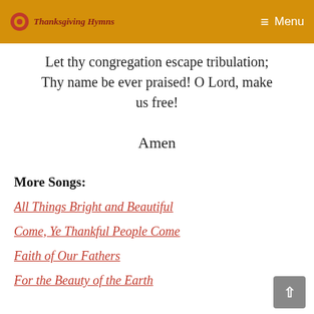Thanksgiving Hymns — Menu
Let thy congregation escape tribulation;
Thy name be ever praised! O Lord, make us free!
Amen
More Songs:
All Things Bright and Beautiful
Come, Ye Thankful People Come
Faith of Our Fathers
For the Beauty of the Earth